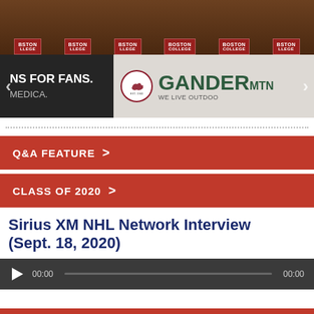[Figure (photo): Boston College hockey team photo at the rink boards with PLANS FOR FANS / MEDICA and GANDER MTN / WE LIVE OUTDOORS rink advertisements visible]
Q&A FEATURE ›
CLASS OF 2020 ›
Sirius XM NHL Network Interview (Sept. 18, 2020)
[Figure (other): Audio player with play button, 00:00 time stamps, and progress bar]